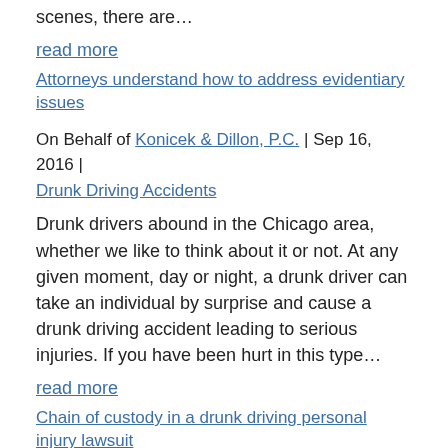scenes, there are…
read more
Attorneys understand how to address evidentiary issues
On Behalf of Konicek & Dillon, P.C. | Sep 16, 2016 | Drunk Driving Accidents
Drunk drivers abound in the Chicago area, whether we like to think about it or not. At any given moment, day or night, a drunk driver can take an individual by surprise and cause a drunk driving accident leading to serious injuries. If you have been hurt in this type…
read more
Chain of custody in a drunk driving personal injury lawsuit
On Behalf of Konicek & Dillon, P.C. | Sep 8, 2016 | Drunk Driving Accidents